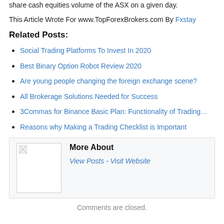share cash equities volume of the ASX on a given day.
This Article Wrote For www.TopForexBrokers.com By Fxstay
Related Posts:
Social Trading Platforms To Invest In 2020
Best Binary Option Robot Review 2020
Are young people changing the foreign exchange scene?
All Brokerage Solutions Needed for Success
3Commas for Binance Basic Plan: Functionality of Trading…
Reasons why Making a Trading Checklist is Important
[Figure (other): Author bio box with broken image placeholder, 'More About' heading, and 'View Posts - Visit Website' links]
Comments are closed.